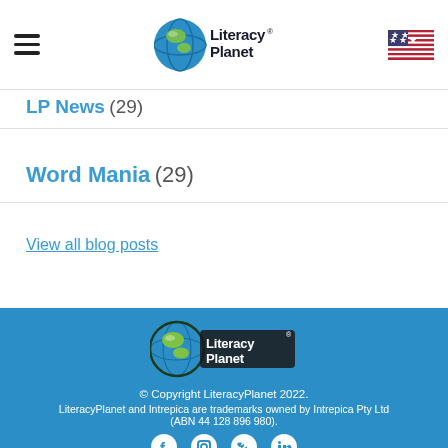LiteracyPlanet navigation header with hamburger menu and US flag
LP News (29)
Word Mania (29)
View all blog posts
[Figure (logo): LiteracyPlanet logo in footer]
© Copyright LiteracyPlanet 2022. LiteracyPlanet and Intrepica are trademarks owned by Intrepica Pty Ltd (ABN 44 128 896 980).